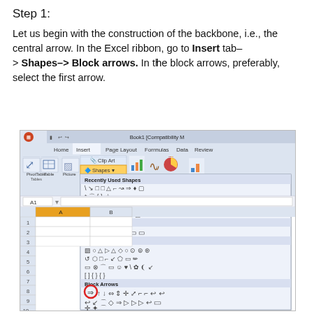Step 1:
Let us begin with the construction of the backbone, i.e., the central arrow. In the Excel ribbon, go to Insert tab–> Shapes–> Block arrows. In the block arrows, preferably, select the first arrow.
[Figure (screenshot): Excel 2007 ribbon showing the Shapes dropdown menu open with Block Arrows section visible. A red circle highlights the first arrow (right-pointing block arrow) in the Block Arrows section.]